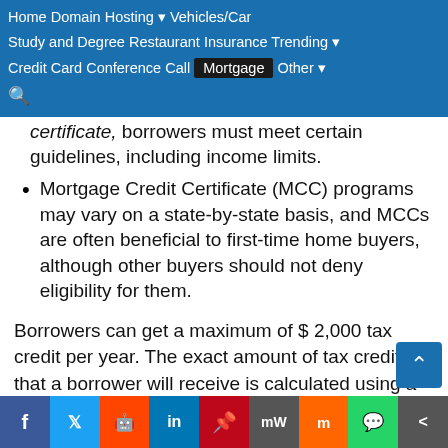Home  Domain Hosting  Vehicles/Car  Study and Degree  Restaurant  Insurance  Trending  Credit Card  Conference Call  Mortgage  Other
certificate, borrowers must meet certain guidelines, including income limits.
Mortgage Credit Certificate (MCC) programs may vary on a state-by-state basis, and MCCs are often beneficial to first-time home buyers, although other buyers should not deny eligibility for them.
Borrowers can get a maximum of $ 2,000 tax credit per year. The exact amount of tax credit that a borrower will receive is calculated using a formula that takes into account the amount of the mortgage, the interest rate of the mortga...
Facebook  Twitter  Reddit  LinkedIn  Pinterest  MW  Mix  WhatsApp  Share